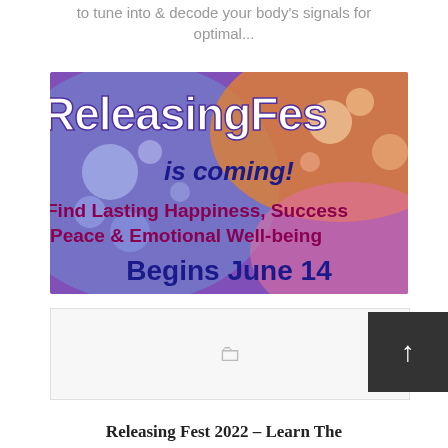to tune into & decode your body's signals for optimal...
[Figure (illustration): ReleasingFest promotional banner image with colorful bokeh background (purple, orange, blue, pink). Text reads: 'ReleasingFes... is coming! Find Lasting Happiness, Success, Peace & Emotional Well-being. Begins June 14']
[Figure (other): Gray placeholder box with folder icon]
Releasing Fest 2022 – Learn The